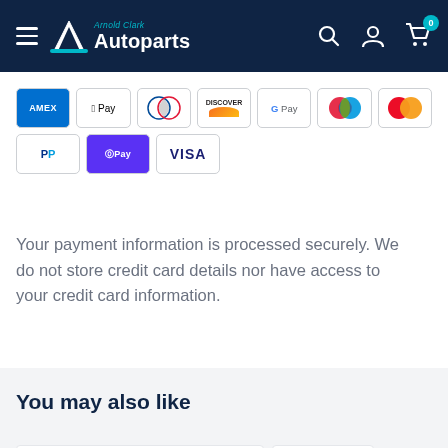Arnold Clark Autoparts – navigation header with hamburger menu, search, account, and cart icons
[Figure (logo): Payment method icons: AMEX, Apple Pay, Diners Club, Discover, Google Pay, Maestro, Mastercard, PayPal, Shop Pay, Visa]
Your payment information is processed securely. We do not store credit card details nor have access to your credit card information.
You may also like